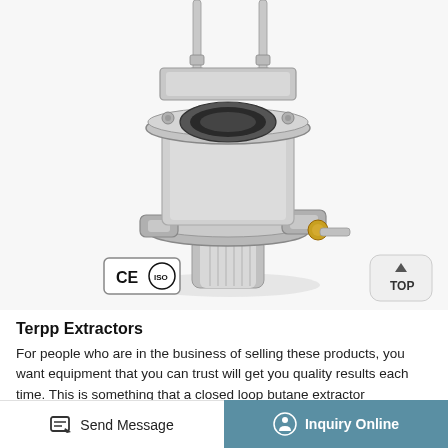[Figure (photo): Close-up photograph of a stainless steel mechanical extractor component with flanged clamps, bolts, and a brass fitting. CE and ISO certification badges visible in lower left. 'TOP' navigation button in lower right.]
Terpp Extractors
For people who are in the business of selling these products, you want equipment that you can trust will get you quality results each time. This is something that a closed loop butane extractor